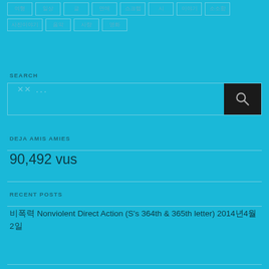태그 버튼 행 1: 여러 태그들
SEARCH
×× ...
DEJA AMIS AMIES
90,492 vus
RECENT POSTS
비폭력 Nonviolent Direct Action (S's 364th & 365th letter) 2014년4월2일